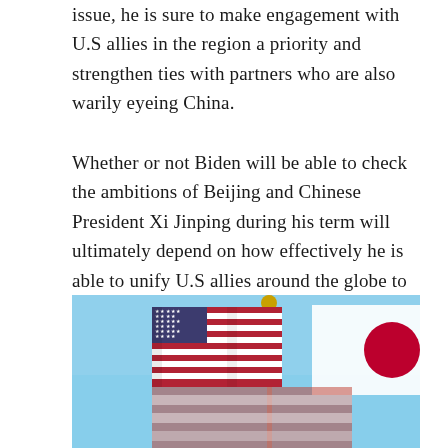issue, he is sure to make engagement with U.S allies in the region a priority and strengthen ties with partners who are also warily eyeing China.
Whether or not Biden will be able to check the ambitions of Beijing and Chinese President Xi Jinping during his term will ultimately depend on how effectively he is able to unify U.S allies around the globe to reject Chinese efforts to challenge the system and defeat this “challenger to the throne.”
[Figure (photo): A photograph of an American flag flying alongside what appears to be a Japanese flag, against a blue sky background.]